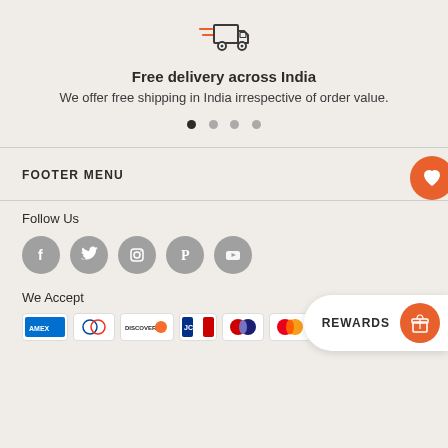[Figure (illustration): Fast delivery truck icon with speed lines, in orange/dark gray]
Free delivery across India
We offer free shipping in India irrespective of order value.
[Figure (other): Carousel indicator dots, 4 dots, first one active/filled]
FOOTER MENU
[Figure (other): Orange circular heart/wishlist button]
Follow Us
[Figure (other): Social media icons: Facebook, Twitter, Instagram, Pinterest, YouTube — gray circles]
We Accept
[Figure (other): Payment method logos: AMEX, Diners Club, Discover, JCB, Maestro, Mastercard, Visa]
[Figure (other): REWARDS button with orange gift/cake icon on right side of page]